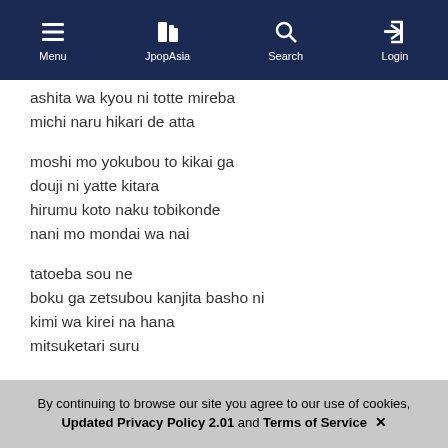Menu | JpopAsia | Search | Login
ashita wa kyou ni totte mireba
michi naru hikari de atta
moshi mo yokubou to kikai ga
douji ni yatte kitara
hirumu koto naku tobikonde
nani mo mondai wa nai
tatoeba sou ne
boku ga zetsubou kanjita basho ni
kimi wa kirei na hana
mitsuketari suru
kimi ga ite boku ga iru
itsu made mo doko made mo
kimi ga ite boku ga iru
sore dake sa sore ga subete sa
By continuing to browse our site you agree to our use of cookies, Updated Privacy Policy 2.01 and Terms of Service ✕